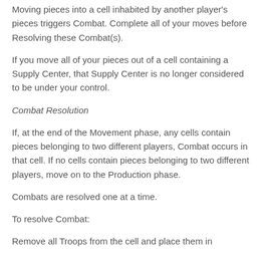Moving pieces into a cell inhabited by another player's pieces triggers Combat. Complete all of your moves before Resolving these Combat(s).
If you move all of your pieces out of a cell containing a Supply Center, that Supply Center is no longer considered to be under your control.
Combat Resolution
If, at the end of the Movement phase, any cells contain pieces belonging to two different players, Combat occurs in that cell. If no cells contain pieces belonging to two different players, move on to the Production phase.
Combats are resolved one at a time.
To resolve Combat:
Remove all Troops from the cell and place them in